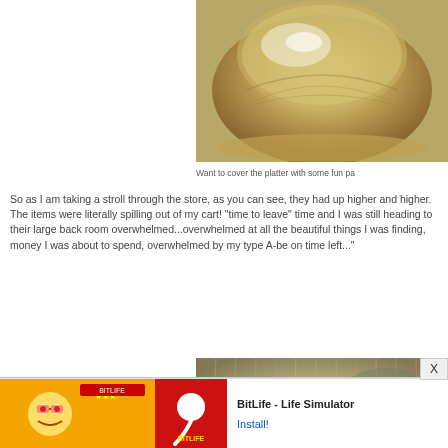[Figure (photo): A wooden bowl or platter with a glossy finish, seen from above, sitting on a surface.]
Want to cover the platter with some fun pa
So as I am taking a stroll through the store, as you can see, they had up higher and higher. The items were literally spilling out of my cart! "time to leave" time and I was still heading to their large back room overwhelmed...overwhelmed at all the beautiful things I was finding, money I was about to spend, overwhelmed by my type A-be on time left..."
[Figure (photo): Fluffy/furry textured items or decorations, possibly a wreath or natural fiber decoration in green tones.]
[Figure (other): Mobile advertisement banner: Ad label, illustrated character, BitLife sperm icon on red background, text 'BitLife - Life Simulator' with 'Install!' link.]